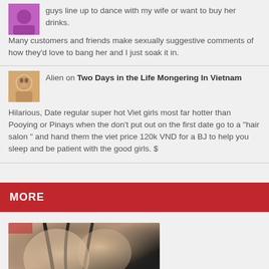guys line up to dance with my wife or want to buy her drinks. Many customers and friends make sexually suggestive comments of how they'd love to bang her and I just soak it in.
Alien on Two Days in the Life Mongering In Vietnam
Hilarious, Date regular super hot Viet girls most far hotter than Pooying or Pinays when the don't put out on the first date go to a "hair salon " and hand them the viet price 120k VND for a BJ to help you sleep and be patient with the good girls. $
MORE
[Figure (photo): Photo of a woman in a black swimsuit/bikini top]